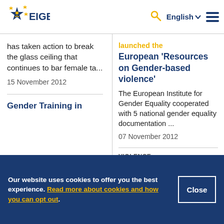EIGE — English
has taken action to break the glass ceiling that continues to bar female ta...
15 November 2012
Gender Training in
launched the European 'Resources on Gender-based violence'
The European Institute for Gender Equality cooperated with 5 national gender equality documentation ...
07 November 2012
VIOLENCE
Our website uses cookies to offer you the best experience. Read more about cookies and how you can opt out.